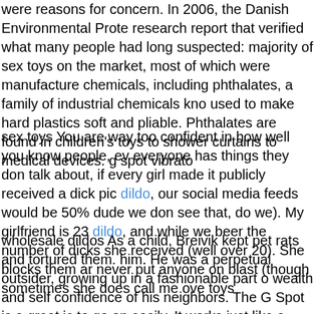were reasons for concern. In 2006, the Danish Environmental Prote research report that verified what many people had long suspected: majority of sex toys on the market, most of which were manufacture chemicals, including phthalates, a family of industrial chemicals kno used to make hard plastics soft and pliable. Phthalates are found in children's toys to shower curtains to medical devices. g spot vibrato
sex toys You are way too confident in how well you know people, ev everyone has things they don talk about, if every girl made it publicly received a dick pic dildo, our social media feeds would be 50% dude we don see that, do we). My girlfriend is 23 dildo, and while we beer the number of dicks she received (well over 20). She blocks them ar never put anyone on blast (though sometimes she does call me ove toys
wholesale dildos As a child, Breivik kept pet rats and tortured them. him. He was a perpetual outsider, growing up in a fashionable part o wealth and self confidence of his neighbors. The G Spot is a great ic to go on easily. It works just like a condom except it has a tip that ex your penis by about two inches and gives your member a flare that r dildos